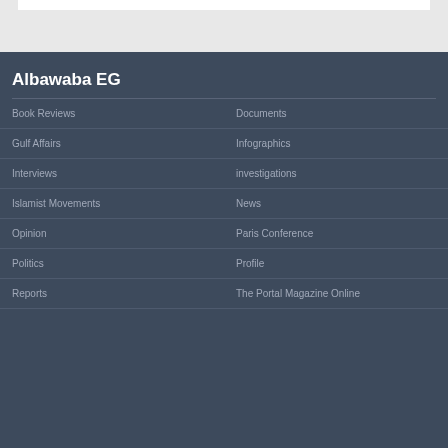Albawaba EG
Book Reviews
Documents
Gulf Affairs
Infographics
Interviews
investigations
Islamist Movements
News
Opinion
Paris Conference
Politics
Profile
Reports
The Portal Magazine Online